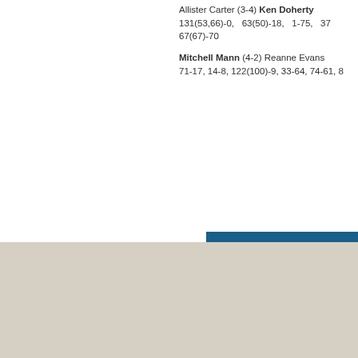Allister Carter (3-4) Ken Doherty 131(53,66)-0, 63(50)-18, 1-75, 37... 67(67)-70
Mitchell Mann (4-2) Reanne Evans 71-17, 14-8, 122(100)-9, 33-64, 74-61, 8...
|  |
| --- |
| Winner |
| Runner-u... |
| Semi-fina... |
| Quarter-... |
| Last 16 |
| Last 32 |
| Second r... |
| First rou... |